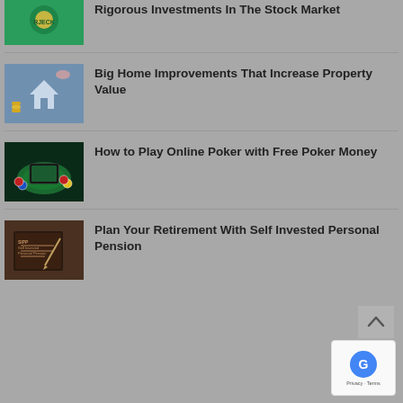Rigorous Investments In The Stock Market
Big Home Improvements That Increase Property Value
How to Play Online Poker with Free Poker Money
Plan Your Retirement With Self Invested Personal Pension
[Figure (logo): reCAPTCHA badge with Google logo, Privacy and Terms links]